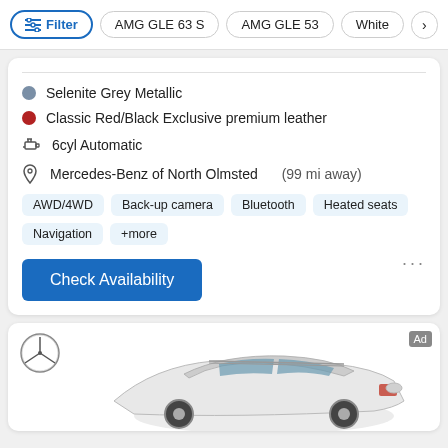Filter | AMG GLE 63 S | AMG GLE 53 | White
Selenite Grey Metallic
Classic Red/Black Exclusive premium leather
6cyl Automatic
Mercedes-Benz of North Olmsted (99 mi away)
AWD/4WD  Back-up camera  Bluetooth  Heated seats  Navigation  +more
Check Availability
[Figure (photo): White Mercedes-Benz SUV (GLE class) viewed from rear three-quarter angle, shown in advertisement card with Mercedes-Benz logo and Ad badge.]